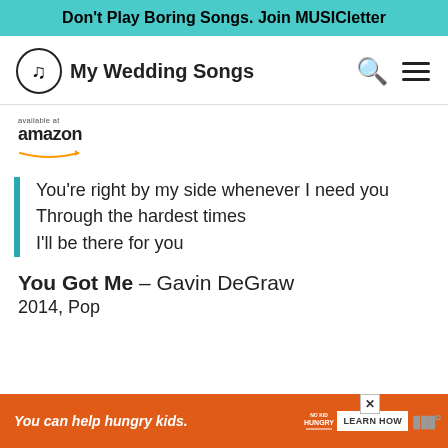Don't Play Boring Songs. Join MUSICletter
[Figure (logo): My Wedding Songs logo with musical note in circle and site name]
[Figure (logo): Available at Amazon logo with orange smile arrow]
You’re right by my side whenever I need you
Through the hardest times
I’ll be there for you
You Got Me – Gavin DeGraw
2014, Pop
[Figure (screenshot): Orange advertisement banner: You can help hungry kids. No Kid Hungry. Learn How.]